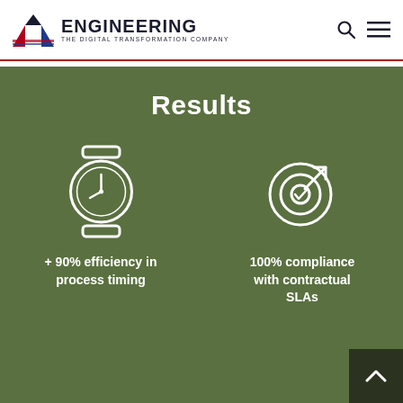[Figure (logo): Engineering - The Digital Transformation Company logo with triangular icon in red, blue and dark colors]
Results
[Figure (infographic): Two icons on green background: a watch/clock icon representing process timing efficiency, and a target/goal icon representing compliance. Labels: '+ 90% efficiency in process timing' and '100% compliance with contractual SLAs']
+ 90% efficiency in process timing
100% compliance with contractual SLAs